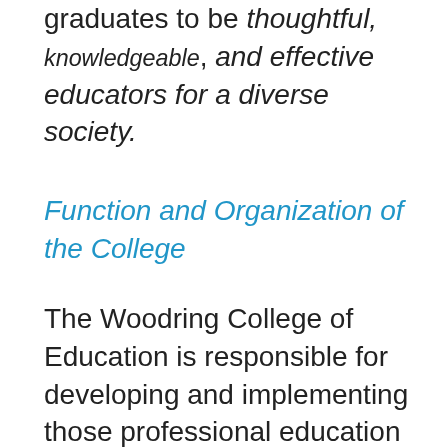graduates to be thoughtful, knowledgeable, and effective educators for a diverse society.
Function and Organization of the College
The Woodring College of Education is responsible for developing and implementing those professional education programs which lead to teacher certification, credentialing of school administrators, and professional training of leaders in human services and various areas of